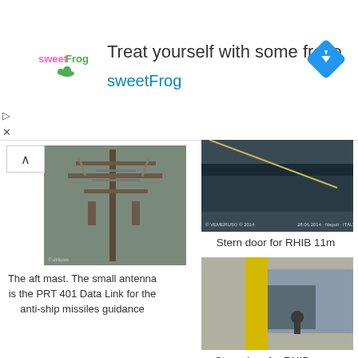[Figure (infographic): sweetFrog advertisement banner with logo, headline 'Treat yourself with some froyo', brand name 'sweetFrog', and navigation icon]
[Figure (photo): Photo of the aft mast of a naval ship with antenna array including the PRT 401 Data Link for anti-ship missiles guidance]
The aft mast. The small antenna is the PRT 401 Data Link for the anti-ship missiles guidance
[Figure (photo): Photo of stern door for RHIB 11m, showing the rear of a naval vessel at dock in Napoli, Italy, dated 28.06.2014]
Stern door for RHIB 11m
[Figure (photo): Photo of stern door for RHIB open, showing a yellow pillar and the open stern door of a naval vessel under construction]
Stern door for RHIB open
[Figure (photo): Partial photo of a naval ship silhouette against a grey sky, showing radar and mast equipment]